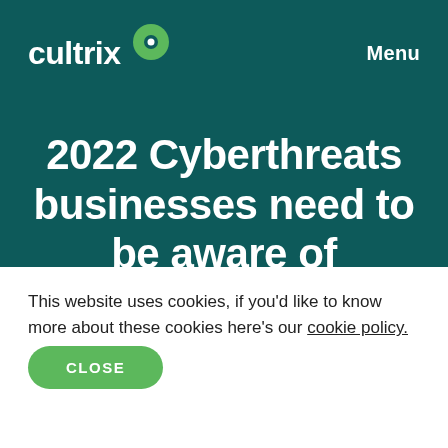[Figure (logo): Cultrix company logo: white text 'cultrix' with a green circular icon featuring a white dot, on dark teal background]
Menu
2022 Cyberthreats businesses need to be aware of
This website uses cookies, if you'd like to know more about these cookies here's our cookie policy.
CLOSE